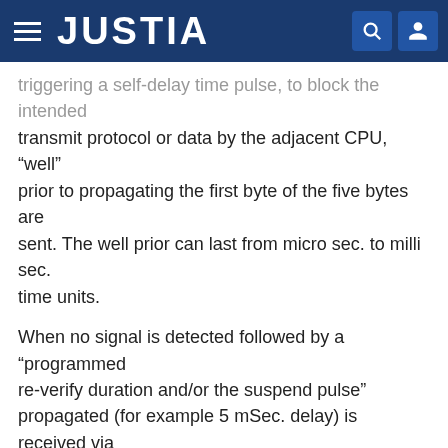JUSTIA
triggering a self-delay time pulse, to block the intended transmit protocol or data by the adjacent CPU, "well" prior to propagating the first byte of the five bytes are sent. The well prior can last from micro sec. to milli sec. time units.
When no signal is detected followed by a "programmed re-verify duration and/or the suspend pulse" propagated (for example 5 mSec. delay) is received via the optical transceivers 68L, through the POF by the adjacent receiving junction. The suspend pulse prevents any intended transmission thereby preventing a collision. The prevention concept can be summarized as; "first to transmit the suspend pulse is the one to continue with the transmission when the pulse is over". To further summarize, the system is programmed to operate on the basis of "first to intent will be first to transmit", and will proceed with the transmit process